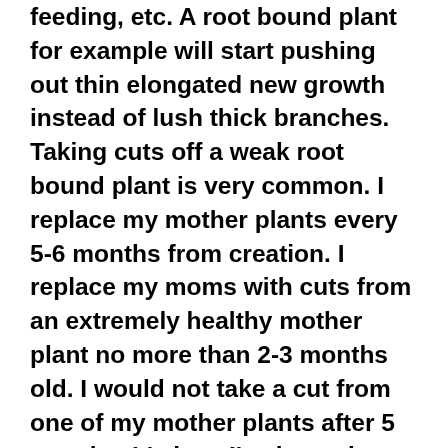feeding, etc. A root bound plant for example will start pushing out thin elongated new growth instead of lush thick branches. Taking cuts off a weak root bound plant is very common. I replace my mother plants every 5-6 months from creation. I replace my moms with cuts from an extremely healthy mother plant no more than 2-3 months old. I would not take a cut from one of my mother plants after 5 months. It's how I've kept plants as old a Guru perfect for decades. The grower is to blame for weak structured plants. The most difficult part of keeping perfect plant structure is through the cloning process. New mother plants should come from only perfect clones. Stressed out clones should